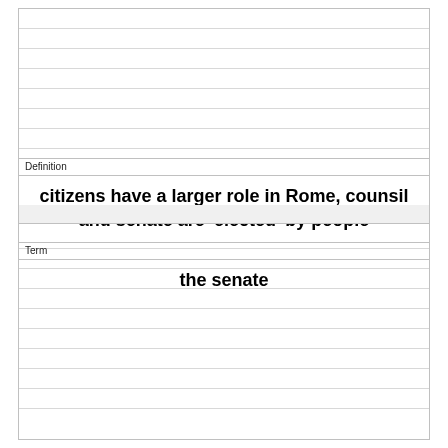Definition
citizens have a larger role in Rome, counsil and senate are 'elected' by people
Term
the senate